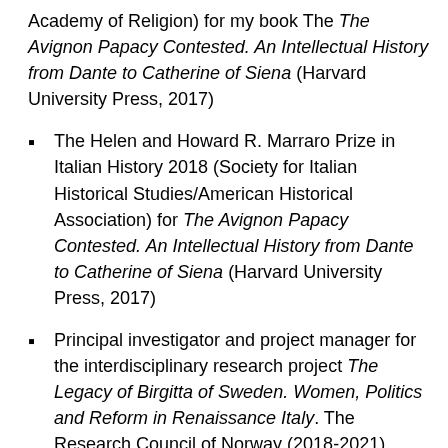Academy of Religion) for my book The The Avignon Papacy Contested. An Intellectual History from Dante to Catherine of Siena (Harvard University Press, 2017)
The Helen and Howard R. Marraro Prize in Italian History 2018 (Society for Italian Historical Studies/American Historical Association) for The Avignon Papacy Contested. An Intellectual History from Dante to Catherine of Siena (Harvard University Press, 2017)
Principal investigator and project manager for the interdisciplinary research project The Legacy of Birgitta of Sweden. Women, Politics and Reform in Renaissance Italy. The Research Council of Norway (2018-2021)
Academy research scholarship from the Royal